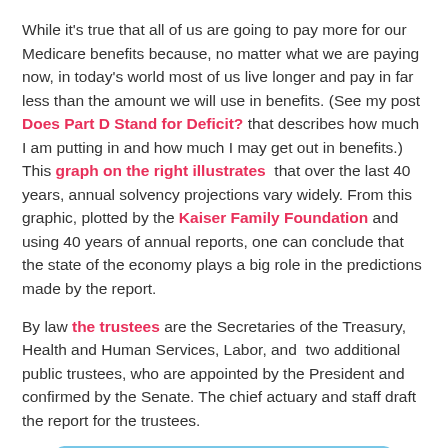While it's true that all of us are going to pay more for our Medicare benefits because, no matter what we are paying now, in today's world most of us live longer and pay in far less than the amount we will use in benefits. (See my post Does Part D Stand for Deficit? that describes how much I am putting in and how much I may get out in benefits.) This graph on the right illustrates  that over the last 40 years, annual solvency projections vary widely. From this graphic, plotted by the Kaiser Family Foundation and using 40 years of annual reports, one can conclude that the state of the economy plays a big role in the predictions made by the report.
By law the trustees are the Secretaries of the Treasury, Health and Human Services, Labor, and  two additional public trustees, who are appointed by the President and confirmed by the Senate. The chief actuary and staff draft the report for the trustees.
[Figure (infographic): A blue gradient banner with 'FAQ' in large bold italic white text on the left, followed by 'Frequently Asked Questions about Medicare' in italic white text, and a question mark icon with a cursor arrow on the right.]
Find Answers to Medicare Questions at this FAQ
The latest report (May 2011) estimates that the Medicare Part A Hospital Insurance Trust Fund will be exhausted by 2024, 5 years earlier than